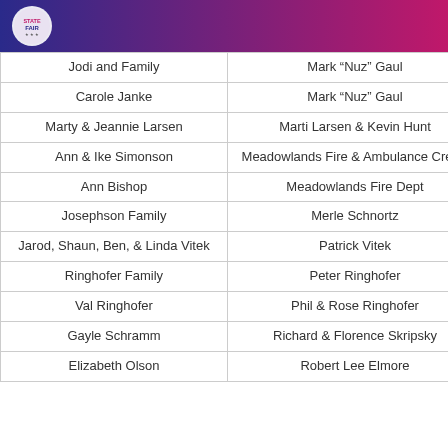| Jodi and Family | Mark “Nuz” Gaul |
| Carole Janke | Mark “Nuz” Gaul |
| Marty & Jeannie Larsen | Marti Larsen & Kevin Hunt |
| Ann & Ike Simonson | Meadowlands Fire & Ambulance Crews |
| Ann Bishop | Meadowlands Fire Dept |
| Josephson Family | Merle Schnortz |
| Jarod, Shaun, Ben, & Linda Vitek | Patrick Vitek |
| Ringhofer Family | Peter Ringhofer |
| Val Ringhofer | Phil & Rose Ringhofer |
| Gayle Schramm | Richard & Florence Skripsky |
| Elizabeth Olson | Robert Lee Elmore |